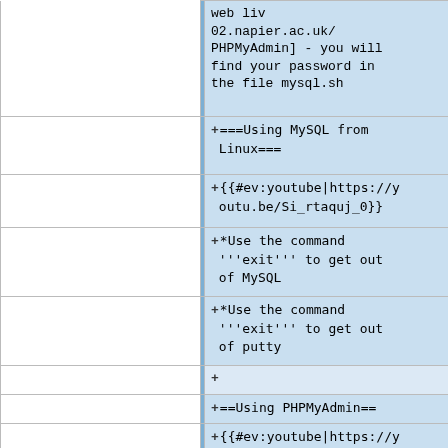|  |  |  |
| --- | --- | --- |
|  |  | web liv
02.napier.ac.uk/
PHPMyAdmin] - you will
find your password in
the file mysql.sh |
|  |  | ===Using MySQL from
Linux=== |
|  |  | {{#ev:youtube|https://y
outu.be/Si_rtaquj_0}} |
|  |  | *Use the command
'''exit''' to get out
of MySQL |
|  |  | *Use the command
'''exit''' to get out
of putty |
|  |  |  |
|  |  | ==Using PHPMyAdmin== |
|  |  | {{#ev:youtube|https://y
outu.be/BLgtp4sYdp4}} |